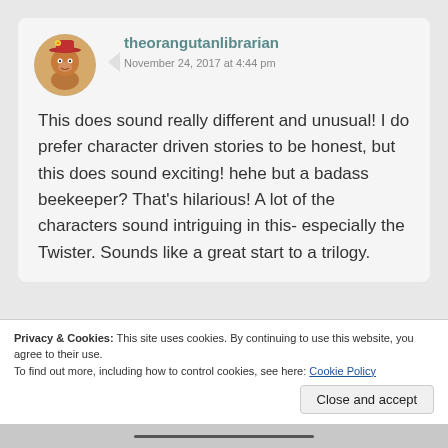theorangutanlibrarian
November 24, 2017 at 4:44 pm
This does sound really different and unusual! I do prefer character driven stories to be honest, but this does sound exciting! hehe but a badass beekeeper? That's hilarious! A lot of the characters sound intriguing in this- especially the Twister. Sounds like a great start to a trilogy.
Privacy & Cookies: This site uses cookies. By continuing to use this website, you agree to their use.
To find out more, including how to control cookies, see here: Cookie Policy
Close and accept